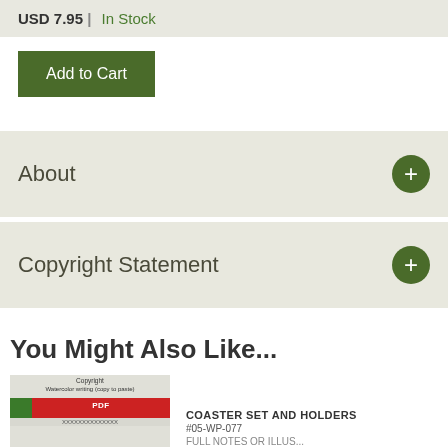USD 7.95 | In Stock
Add to Cart
About
Copyright Statement
You Might Also Like...
[Figure (other): Product thumbnail image with copyright label and red/green flag graphic]
COASTER SET AND HOLDERS #05-WP-077